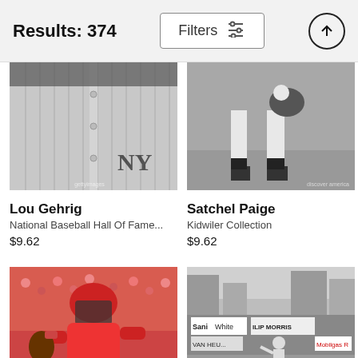Results: 374
[Figure (photo): Black and white photo showing the torso of a New York Yankees player in a pinstripe uniform, with the NY logo visible]
Lou Gehrig
National Baseball Hall Of Fame...
$9.62
[Figure (photo): Black and white photo showing the legs and feet of a baseball player on a field, holding a ball and glove]
Satchel Paige
Kidwiler Collection
$9.62
[Figure (photo): Color photo of a baseball catcher in red uniform with catcher's mask and gear]
[Figure (photo): Black and white photo of a baseball game at a ballpark with stadium advertisements including Sani-White, Philip Morris, Van Heusen, and Mobilgas]